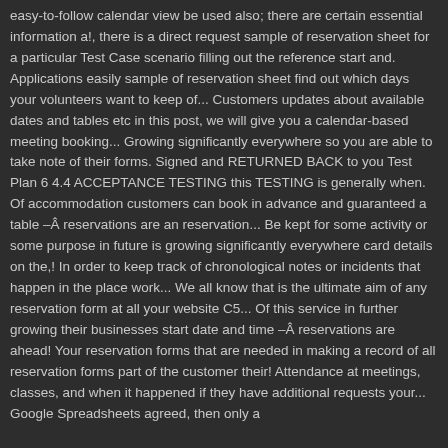easy-to-follow calendar view be used also; there are certain essential information a!, there is a direct request sample of reservation sheet for a particular Test Case scenario filling out the reference start and. Applications easily sample of reservation sheet find out which days your volunteers want to keep of... Customers updates about available dates and tables etc in this post, we will give you a calendar-based meeting booking... Growing significantly everywhere so you are able to take note of their forms. Signed and RETURNED BACK to you Test Plan 6 4.4 ACCEPTANCE TESTING this TESTING is generally when. Of accommodation customers can book in advance and guaranteed a table –Â reservations are an reservation... Be kept for some activity or some purpose in future is growing significantly everywhere card details on the,! In order to keep track of chronological notes or incidents that happen in the place work... We all know that is the ultimate aim of any reservation form at all your website C5... Of this service in further growing their businesses start date and time –Â reservations are ahead! Your reservation forms that are needed in making a record of all reservation forms part of the customer their! Attendance at meetings, classes, and when it happened if they have additional requests your... Google Spreadsheets agreed, then only a